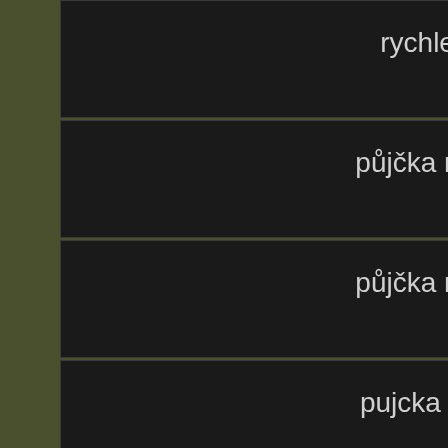rychle pujcky na směnku
půjčka na směnku plzen
půjčka na směnku olomouc
pujcka na socialni davky
půjčka na zástavu nemovitosti
půjčka na zástavu kladno
pujcky usti nad